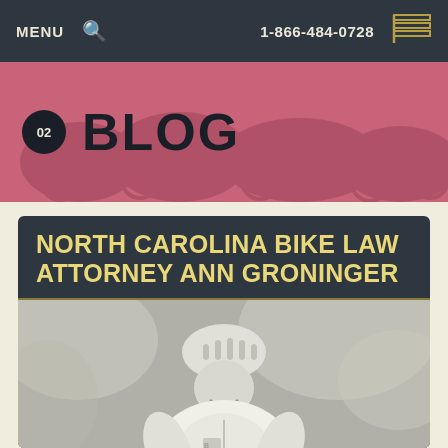MENU  🔍  1-866-484-0728
02  BLOG
NORTH CAROLINA BIKE LAW ATTORNEY ANN GRONINGER
[Figure (photo): Black and white photo of a woman cyclist wearing a helmet and cycling jersey, smiling outdoors with blurred foliage background]